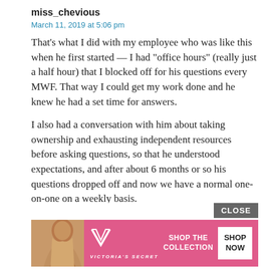miss_chevious
March 11, 2019 at 5:06 pm
That’s what I did with my employee who was like this when he first started — I had “office hours” (really just a half hour) that I blocked off for his questions every MWF. That way I could get my work done and he knew he had a set time for answers.
I also had a conversation with him about taking ownership and exhausting independent resources before asking questions, so that he understood expectations, and after about 6 months or so his questions dropped off and now we have a normal one-on-one on a weekly basis.
slow
March
[Figure (advertisement): Victoria's Secret advertisement banner with a model, VS logo, 'SHOP THE COLLECTION' text and 'SHOP NOW' button on pink background]